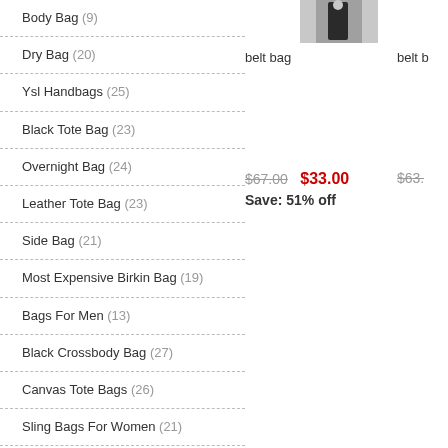Body Bag (9)
Dry Bag (20)
Ysl Handbags (25)
Black Tote Bag (23)
Overnight Bag (24)
Leather Tote Bag (23)
Side Bag (21)
Most Expensive Birkin Bag (19)
Bags For Men (13)
Black Crossbody Bag (27)
Canvas Tote Bags (26)
Sling Bags For Women (21)
Thirty One Bags (8)
Fossil Bags (30)
Laptop Bags For Women (14)
Designer Tote Bags (15)
[Figure (photo): Product image of a belt bag, person wearing dark clothing]
belt bag
belt b
$67.00  $33.00  Save: 51% off
$63.